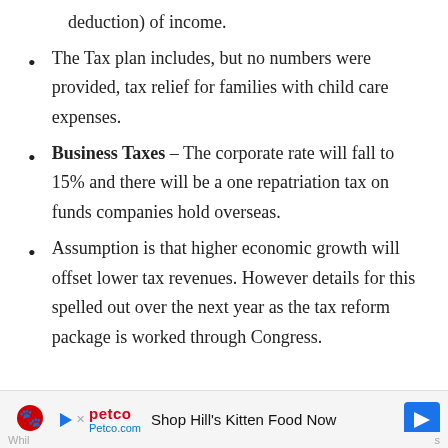deduction) of income.
The Tax plan includes, but no numbers were provided, tax relief for families with child care expenses.
Business Taxes – The corporate rate will fall to 15% and there will be a one repatriation tax on funds companies hold overseas.
Assumption is that higher economic growth will offset lower tax revenues. However details for this spelled out over the next year as the tax reform package is worked through Congress.
[Figure (other): Advertisement banner for Petco showing Hill's Kitten Food Now with Petco logo and arrow navigation icon]